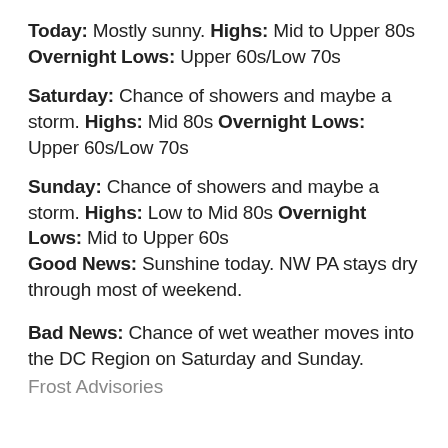Today: Mostly sunny. Highs: Mid to Upper 80s Overnight Lows: Upper 60s/Low 70s
Saturday: Chance of showers and maybe a storm. Highs: Mid 80s Overnight Lows: Upper 60s/Low 70s
Sunday: Chance of showers and maybe a storm. Highs: Low to Mid 80s Overnight Lows: Mid to Upper 60s
Good News: Sunshine today. NW PA stays dry through most of weekend.
Bad News: Chance of wet weather moves into the DC Region on Saturday and Sunday.
Frost Advisories